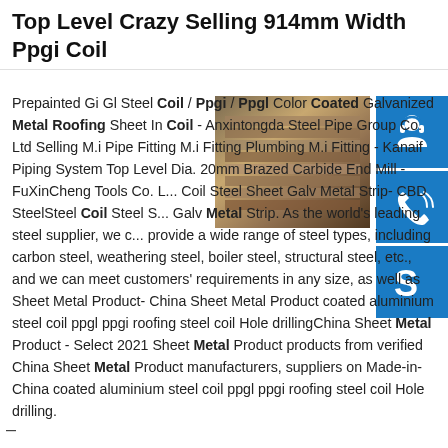Top Level Crazy Selling 914mm Width Ppgi Coil
[Figure (photo): Photo of stacked steel coils/sheets in a warehouse or industrial setting]
[Figure (infographic): Blue icon button with customer service headset icon]
[Figure (infographic): Blue icon button with phone/call icon]
[Figure (infographic): Blue icon button with Skype logo icon]
Prepainted Gi Gl Steel Coil / Ppgi / Ppgl Color Coated Galvanized Metal Roofing Sheet In Coil - Anxintongda Steel Pipe Group Co. Ltd Selling M.i Pipe Fitting M.i Fitting Plumbing M.i Fitting - Kanaif Piping System Top Level Dia. 20mm Brazed Carbide End Mill - FuXinCheng Tools Co. L... Coil Steel Sheet Galv Metal Strip- CBD SteelSteel Coil Steel S... Galv Metal Strip. As the world's leading steel supplier, we c... provide a wide range of steel types, including carbon steel, weathering steel, boiler steel, structural steel, etc., and we can meet customers' requirements in any size, as well as Sheet Metal Product- China Sheet Metal Product coated aluminium steel coil ppgl ppgi roofing steel coil Hole drillingChina Sheet Metal Product - Select 2021 Sheet Metal Product products from verified China Sheet Metal Product manufacturers, suppliers on Made-in-China coated aluminium steel coil ppgl ppgi roofing steel coil Hole drilling.